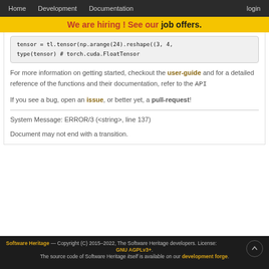Home   Development   Documentation   login
We are hiring! See our job offers.
tensor = tl.tensor(np.arange(24).reshape((3, 4,
type(tensor) # torch.cuda.FloatTensor
For more information on getting started, checkout the user-guide and for a detailed reference of the functions and their documentation, refer to the API
If you see a bug, open an issue, or better yet, a pull-request!
System Message: ERROR/3 (<string>, line 137)
Document may not end with a transition.
Software Heritage — Copyright (C) 2015–2022, The Software Heritage developers. License: GNU AGPLv3+. The source code of Software Heritage itself is available on our development forge.